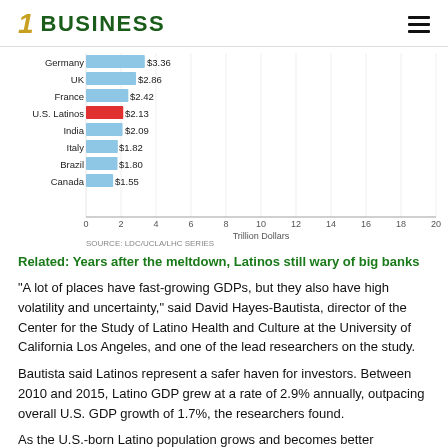1 BUSINESS
[Figure (bar-chart): GDP comparison in Trillion Dollars]
Related: Years after the meltdown, Latinos still wary of big banks
“A lot of places have fast-growing GDPs, but they also have high volatility and uncertainty,” said David Hayes-Bautista, director of the Center for the Study of Latino Health and Culture at the University of California Los Angeles, and one of the lead researchers on the study.
Bautista said Latinos represent a safer haven for investors. Between 2010 and 2015, Latino GDP grew at a rate of 2.9% annually, outpacing overall U.S. GDP growth of 1.7%, the researchers found.
As the U.S.-born Latino population grows and becomes better